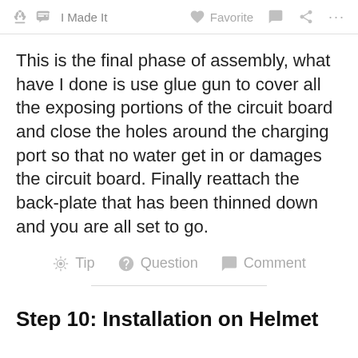I Made It  Favorite  Comment  Share  ...
This is the final phase of assembly, what have I done is use glue gun to cover all the exposing portions of the circuit board and close the holes around the charging port so that no water get in or damages the circuit board. Finally reattach the back-plate that has been thinned down and you are all set to go.
Tip  Question  Comment
Step 10: Installation on Helmet